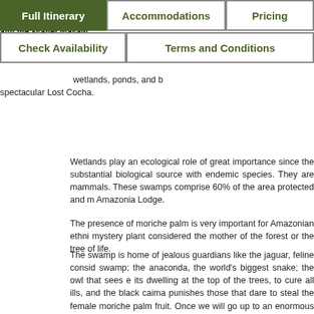monkey; reptiles like the iguana and the amphibians found, and birds like the guan, the partridge, the g and the scarlet macaw.
The river wetlands, ponds, and b spectacular Lost Cocha.
Full Itinerary | Accommodations | Pricing | Check Availability | Terms and Conditions
Wetlands play an ecological role of great importance since the substantial biological source with endemic species. They are mammals. These swamps comprise 60% of the area protected and m Amazonia Lodge.
The presence of moriche palm is very important for Amazonian ethni mystery plant considered the mother of the forest or the tree of life.
The swamp is home of jealous guardians like the jaguar, feline consid swamp; the anaconda, the world's biggest snake; the owl that sees e its dwelling at the top of the trees, to cure all ills, and the black caima punishes those that dare to steal the female moriche palm fruit. Once we will go up to an enormous observation platform. From this lookc the enormous surface that this magic place covers and where you ca of swamps: thick and mixed.
Then, we will take a pleasant walk around the Lost Cocha and with lu see the "giant otter" or Pteronurabrasiliensis, the biggest in its type most impressive animals of the Amazon region.
Back in the lodge, you can enjoy an exquisite lunch.
In the afternoon, you have free time to take pictures around the lodg have the possibility to visit the botanical garden and observe our m and fruit trees. MONKEY ISLANDIn the afternoon, joined with our sp